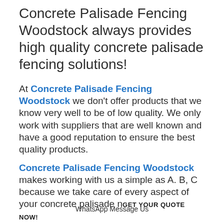Concrete Palisade Fencing Woodstock always provides high quality concrete palisade fencing solutions!
At Concrete Palisade Fencing Woodstock we don't offer products that we know very well to be of low quality. We only work with suppliers that are well known and have a good reputation to ensure the best quality products.
Concrete Palisade Fencing Woodstock
makes working with us a simple as A, B, C because we take care of every aspect of your concrete palisade needs, from
GET your QUOTE now!
WhatsApp Message Us